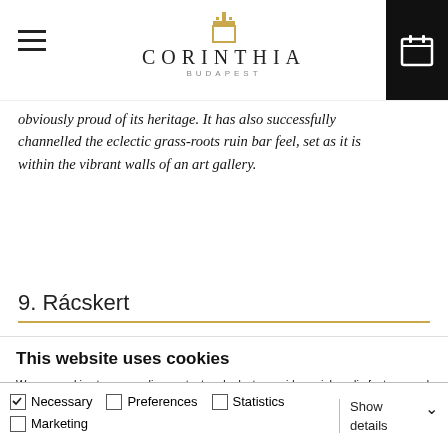CORINTHIA BUDAPEST
obviously proud of its heritage. It has also successfully channelled the eclectic grass-roots ruin bar feel, set as it is within the vibrant walls of an art gallery.
9. Rácskert
This website uses cookies
We use cookies to personalise content and ads, to provide social media features and to analyse our traffic. We also share information about your use of our site with our social media, advertising and analytics partners who may combine it with other information that you've provided to them or that they've collected from your use of their services.
Allow all cookies
Allow selection
Use necessary cookies only
Necessary  Preferences  Statistics  Marketing  Show details